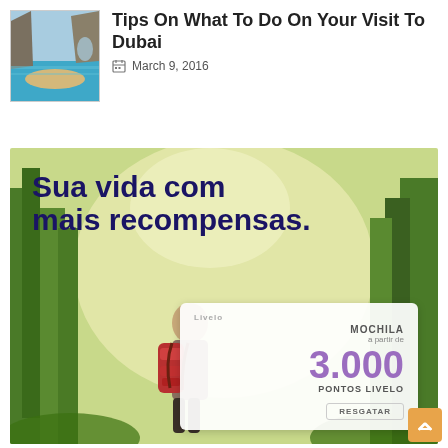[Figure (photo): Thumbnail photo of coastal cliffs and turquoise water]
Tips On What To Do On Your Visit To Dubai
March 9, 2016
[Figure (photo): Advertisement banner with forest background, man with backpack, and Livelo loyalty points offer. Text: 'Sua vida com mais recompensas.' MOCHILA a partir de 3.000 PONTOS LIVELO. RESGATAR button.]